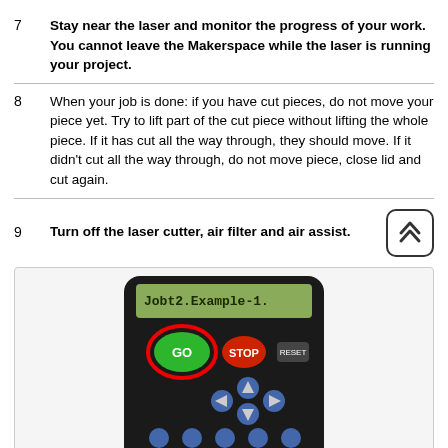7 Stay near the laser and monitor the progress of your work. You cannot leave the Makerspace while the laser is running your project.
8 When your job is done: if you have cut pieces, do not move your piece yet. Try to lift part of the cut piece without lifting the whole piece. If it has cut all the way through, they should move. If it didn't cut all the way through, do not move piece, close lid and cut again.
9 Turn off the laser cutter, air filter and air assist.
[Figure (photo): Photo of a laser cutter control panel/keypad with a green GO button, red STOP button, RESET button, directional arrows, and other controls. The GO button is circled in red. A 'Data' button in the bottom right is also circled in red. The display reads 'Jobt2.Example-1.']